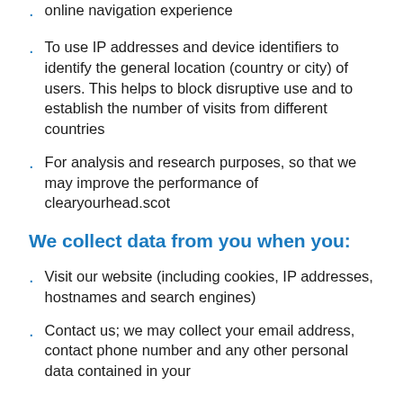online navigation experience
To use IP addresses and device identifiers to identify the general location (country or city) of users. This helps to block disruptive use and to establish the number of visits from different countries
For analysis and research purposes, so that we may improve the performance of clearyourhead.scot
We collect data from you when you:
Visit our website (including cookies, IP addresses, hostnames and search engines)
Contact us; we may collect your email address, contact phone number and any other personal data contained in your